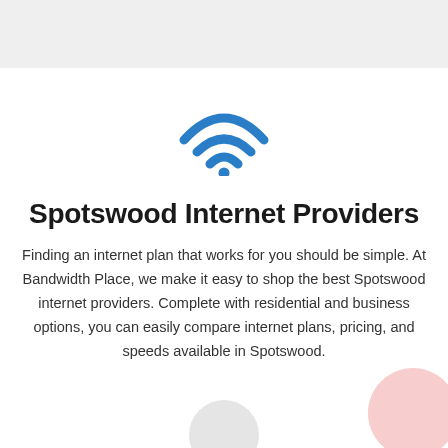[Figure (illustration): WiFi signal icon in blue, with three arcs and a dot at the bottom center]
Spotswood Internet Providers
Finding an internet plan that works for you should be simple. At Bandwidth Place, we make it easy to shop the best Spotswood internet providers. Complete with residential and business options, you can easily compare internet plans, pricing, and speeds available in Spotswood.